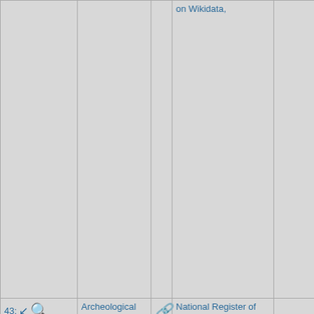| Icons/Distance | Name | Link | Categories | Extra |
| --- | --- | --- | --- | --- |
| (partial row — top cut off) |  | on Wikidata, |  |  |
| 43: 12.5km [icons] | Archeological Resources of the Caloosahatchee Region MPS | [link] | National Register of Historic Places in Lee County, Florida, National Register of Historic Places Multiple Property Submissions in Florida, Hidden categories:, Coordinates on Wikidata, |  |
| 44: 12.6km [icons] | Whiskey Creek, Florida | [link] | Census-designated places in Lee County, Florida, Census-designated places in Florida, Hidden categories:, Coordinates on |  |